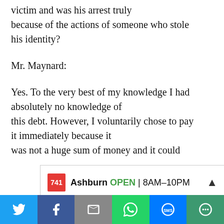victim and was his arrest truly because of the actions of someone who stole his identity?
Mr. Maynard:
Yes. To the very best of my knowledge I had absolutely no knowledge of this debt. However, I voluntarily chose to pay it immediately because it was not a huge sum of money and it could
[Figure (screenshot): Advertisement banner showing a local business: red logo block with '741', text 'Ashburn OPEN 8AM-10PM' with a right-pointing chevron]
[Figure (infographic): Social media share bar with six buttons: Twitter (blue), Facebook (dark blue), Email (grey), WhatsApp (green), SMS (blue), More (dark green)]